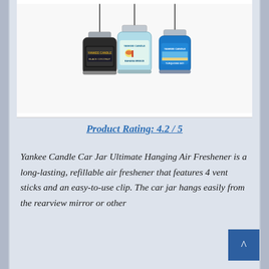[Figure (photo): Three Yankee Candle Car Jar Ultimate Hanging Air Fresheners hanging by strings — one dark/black (Black Coconut), one clear/teal (Bahama Breeze), and one blue (Turquoise Sky)]
Product Rating: 4.2 / 5
Yankee Candle Car Jar Ultimate Hanging Air Freshener is a long-lasting, refillable air freshener that features 4 vent sticks and an easy-to-use clip. The car jar hangs easily from the rearview mirror or other